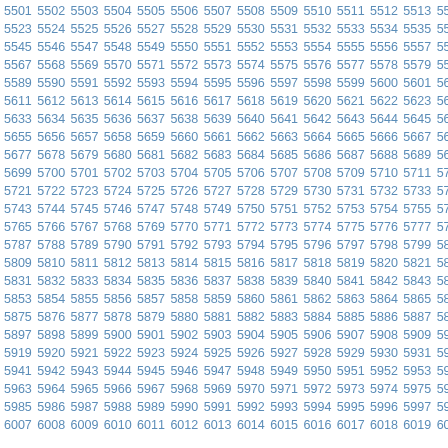Sequential number grid from approximately 5501 to 6022, arranged in rows of 18 numbers each, displayed in blue monospace-style font.